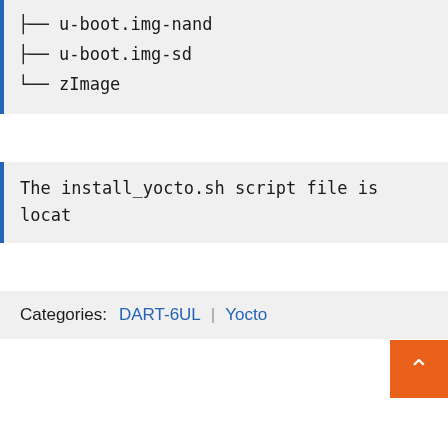├── u-boot.img-nand
├── u-boot.img-sd
└── zImage
The install_yocto.sh script file is locate
Categories: DART-6UL | Yocto